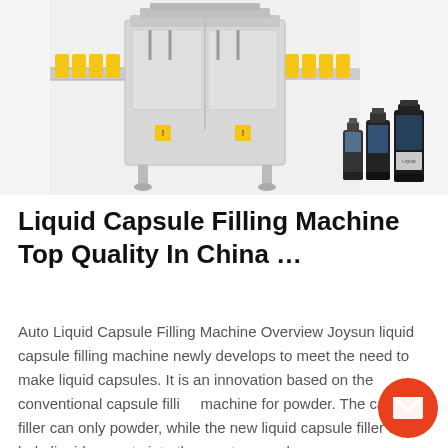[Figure (photo): Industrial liquid capsule filling machine with yellow bottle caps on conveyor belt, and a group of dark liquid bottles shown in the lower right corner.]
Liquid Capsule Filling Machine Top Quality In China …
Auto Liquid Capsule Filling Machine Overview Joysun liquid capsule filling machine newly develops to meet the need to make liquid capsules. It is an innovation based on the conventional capsule filling machine for powder. The capsule filler can only powder, while the new liquid capsule filler can hold liquid or paste into the empty capsules.